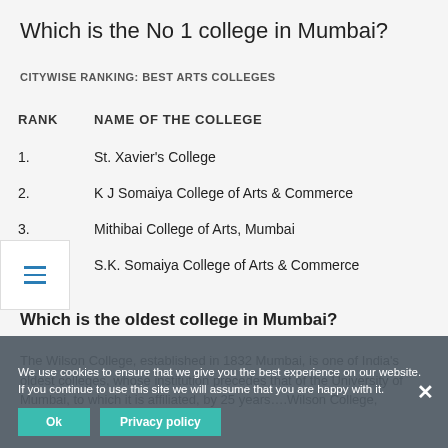Which is the No 1 college in Mumbai?
CITYWISE RANKING: BEST ARTS COLLEGES
| RANK | NAME OF THE COLLEGE |
| --- | --- |
| 1. | St. Xavier's College |
| 2. | K J Somaiya College of Arts & Commerce |
| 3. | Mithibai College of Arts, Mumbai |
| 4. | S.K. Somaiya College of Arts & Commerce |
Which is the oldest college in Mumbai?
The Wilson College, established in 1832 Mumbai, is one of India's oldest colleges, whose institution precedes that of the University of Mumbai, to which it is affiliated, by 25 years….Wilson College, Mumbai.
We use cookies to ensure that we give you the best experience on our website. If you continue to use this site we will assume that you are happy with it.